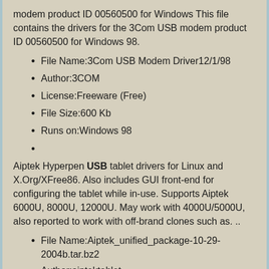modem product ID 00560500 for Windows This file contains the drivers for the 3Com USB modem product ID 00560500 for Windows 98.
File Name:3Com USB Modem Driver12/1/98
Author:3COM
License:Freeware (Free)
File Size:600 Kb
Runs on:Windows 98
Aiptek Hyperpen USB tablet drivers for Linux and X.Org/XFree86. Also includes GUI front-end for configuring the tablet while in-use. Supports Aiptek 6000U, 8000U, 12000U. May work with 4000U/5000U, also reported to work with off-brand clones such as. ..
File Name:Aiptek_unified_package-10-29-2004b.tar.bz2
Author:aiptektablet